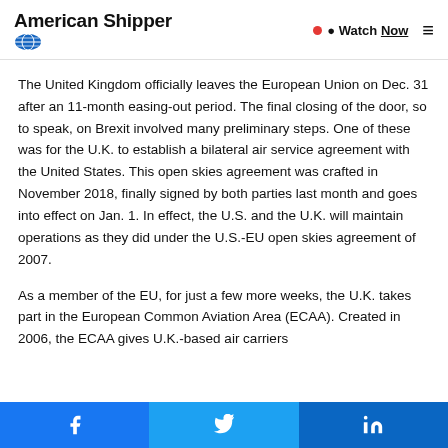American Shipper — Watch Now
The United Kingdom officially leaves the European Union on Dec. 31 after an 11-month easing-out period. The final closing of the door, so to speak, on Brexit involved many preliminary steps. One of these was for the U.K. to establish a bilateral air service agreement with the United States. This open skies agreement was crafted in November 2018, finally signed by both parties last month and goes into effect on Jan. 1. In effect, the U.S. and the U.K. will maintain operations as they did under the U.S.-EU open skies agreement of 2007.
As a member of the EU, for just a few more weeks, the U.K. takes part in the European Common Aviation Area (ECAA). Created in 2006, the ECAA gives U.K.-based air carriers
Facebook  Twitter  LinkedIn